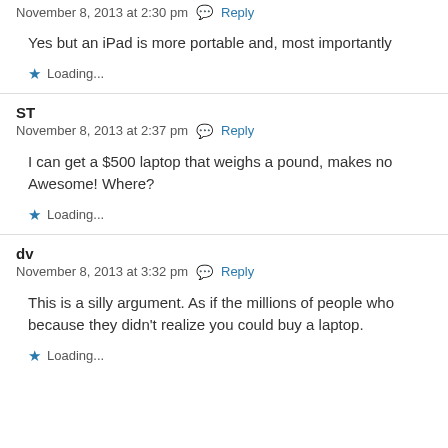November 8, 2013 at 2:30 pm  Reply
Yes but an iPad is more portable and, most importantly
★ Loading...
ST
November 8, 2013 at 2:37 pm  Reply
I can get a $500 laptop that weighs a pound, makes no
Awesome! Where?
★ Loading...
dv
November 8, 2013 at 3:32 pm  Reply
This is a silly argument. As if the millions of people who
because they didn't realize you could buy a laptop.
★ Loading...